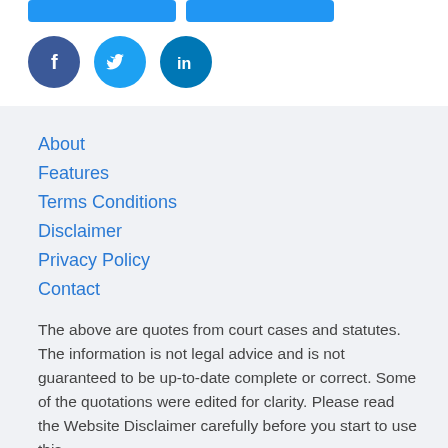[Figure (other): Two blue buttons side by side at top of page]
[Figure (other): Three social media icons: Facebook (dark blue circle with f), Twitter (light blue circle with bird), LinkedIn (teal circle with in)]
About
Features
Terms Conditions
Disclaimer
Privacy Policy
Contact
The above are quotes from court cases and statutes. The information is not legal advice and is not guaranteed to be up-to-date complete or correct. Some of the quotations were edited for clarity. Please read the Website Disclaimer carefully before you start to use this